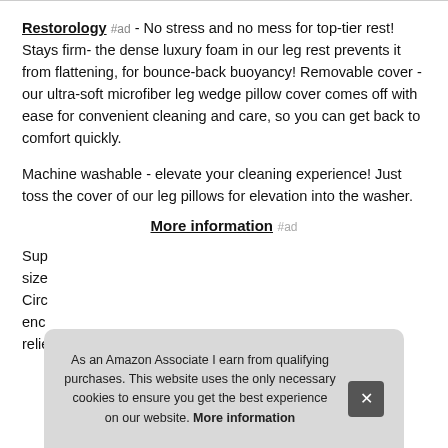Restorology #ad - No stress and no mess for top-tier rest! Stays firm- the dense luxury foam in our leg rest prevents it from flattening, for bounce-back buoyancy! Removable cover - our ultra-soft microfiber leg wedge pillow cover comes off with ease for convenient cleaning and care, so you can get back to comfort quickly.
Machine washable - elevate your cleaning experience! Just toss the cover of our leg pillows for elevation into the washer.
More information #ad
Sup... size... Circ... enc... relie...
As an Amazon Associate I earn from qualifying purchases. This website uses the only necessary cookies to ensure you get the best experience on our website. More information